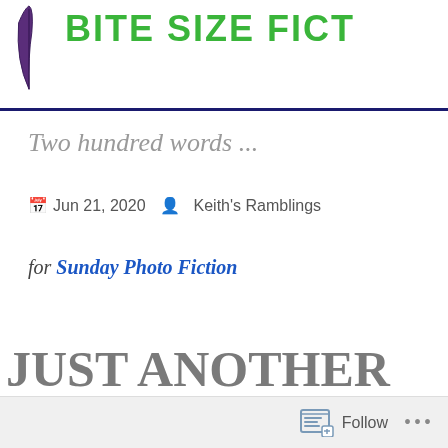BITE SIZE FIC...
Two hundred words ...
Jun 21, 2020   Keith's Ramblings
for Sunday Photo Fiction
JUST ANOTHER DAY
Follow ...